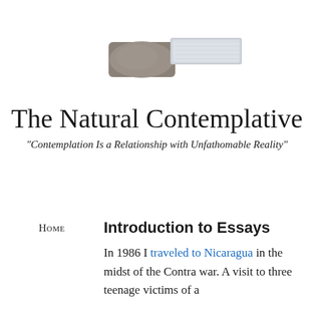[Figure (photo): A photograph showing what appears to be a close-up of a rounded stone or fabric object on the left side and a lighter colored elongated object on the right, horizontally oriented]
The Natural Contemplative
“Contemplation Is a Relationship with Unfathomable Reality”
Home
Introduction to Essays
About
In 1986 I traveled to Nicaragua in the midst of the Contra war. A visit to three teenage victims of a